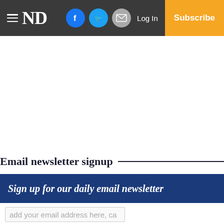≡ ND | Log In | Subscribe
Email newsletter signup
Sign up for our daily email newsletter
add your email address here, ca